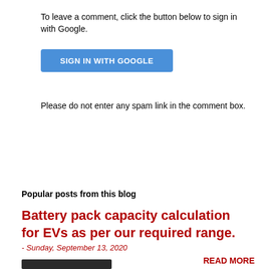To leave a comment, click the button below to sign in with Google.
[Figure (other): Blue 'SIGN IN WITH GOOGLE' button]
Please do not enter any spam link in the comment box.
Popular posts from this blog
Battery pack capacity calculation for EVs as per our required range.
- Sunday, September 13, 2020
[Figure (photo): Dark background photo showing battery/cylindrical cells]
READ MORE